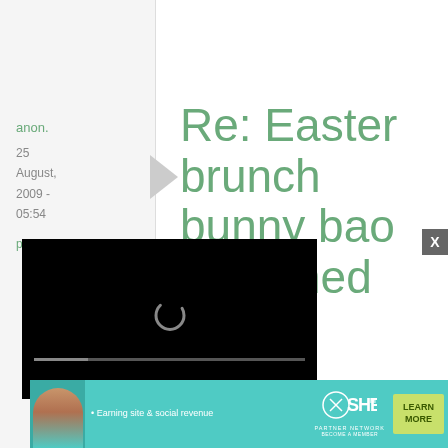anon.
25 August, 2009 - 05:54
permalink
Re: Easter brunch bunny bao (steamed
follow recipe.
Thank
[Figure (screenshot): Video player overlay showing a black video player with a loading spinner, progress bar, timestamp 13:52, and controls including mute, CC, grid, and fullscreen buttons]
[Figure (infographic): Advertisement banner for SHE Partner Network with text 'Earning site & social revenue', SHE logo, 'PARTNER NETWORK', 'BECOME A MEMBER', and 'LEARN MORE' button. Features a woman's photo on the left.]